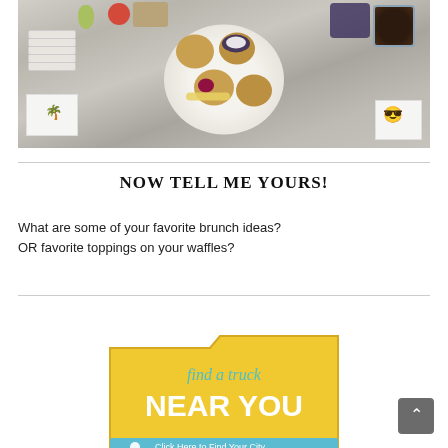[Figure (photo): Overhead photo of a plate with various topped waffles, fruits, blueberries, granola, coffee cup, and napkins on a table]
NOW TELL ME YOURS!
What are some of your favorite brunch ideas?
OR favorite toppings on your waffles?
[Figure (infographic): Yellow food truck banner graphic with text 'find a truck NEAR YOU' and 'Click Here to Find Your City']